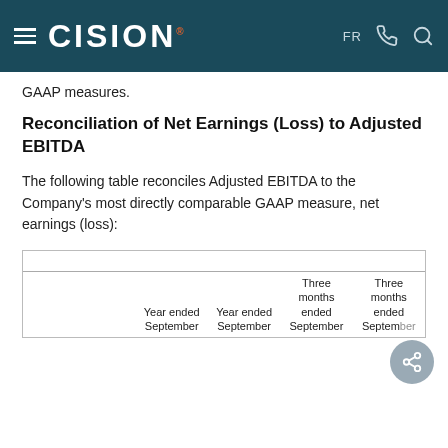CISION — FR
GAAP measures.
Reconciliation of Net Earnings (Loss) to Adjusted EBITDA
The following table reconciles Adjusted EBITDA to the Company's most directly comparable GAAP measure, net earnings (loss):
|  |  | Year ended September | Year ended September | Three months ended September | Three months ended September |
| --- | --- | --- | --- | --- | --- |